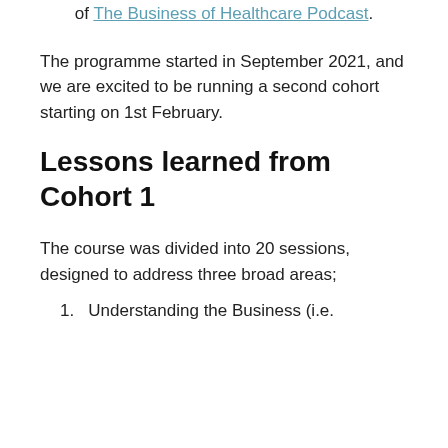of The Business of Healthcare Podcast.
The programme started in September 2021, and we are excited to be running a second cohort starting on 1st February.
Lessons learned from Cohort 1
The course was divided into 20 sessions, designed to address three broad areas;
1. Understanding the Business (i.e.